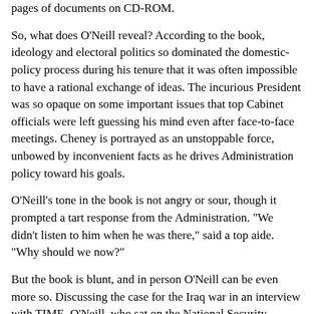pages of documents on CD-ROM.
So, what does O'Neill reveal? According to the book, ideology and electoral politics so dominated the domestic-policy process during his tenure that it was often impossible to have a rational exchange of ideas. The incurious President was so opaque on some important issues that top Cabinet officials were left guessing his mind even after face-to-face meetings. Cheney is portrayed as an unstoppable force, unbowed by inconvenient facts as he drives Administration policy toward his goals.
O'Neill's tone in the book is not angry or sour, though it prompted a tart response from the Administration. "We didn't listen to him when he was there," said a top aide. "Why should we now?"
But the book is blunt, and in person O'Neill can be even more so. Discussing the case for the Iraq war in an interview with TIME, O'Neill, who sat on the National Security Council, says the focus was on Saddam from the early days of the Administration. He offers the most skeptical view of the case for war ever put forward by a top Administration official. "In the 23 months I was there, I never saw anything that I would